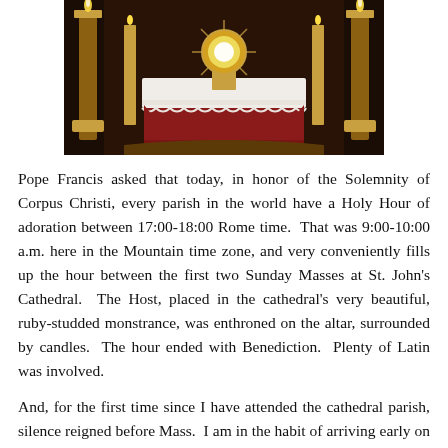[Figure (photo): A photograph of an ornate Catholic altar setup with a monstrance on a table covered with a white lace cloth over red drapery, surrounded by tall golden candles and elaborate golden decorations against a dark background.]
Pope Francis asked that today, in honor of the Solemnity of Corpus Christi, every parish in the world have a Holy Hour of adoration between 17:00-18:00 Rome time. That was 9:00-10:00 a.m. here in the Mountain time zone, and very conveniently fills up the hour between the first two Sunday Masses at St. John's Cathedral. The Host, placed in the cathedral's very beautiful, ruby-studded monstrance, was enthroned on the altar, surrounded by candles. The hour ended with Benediction. Plenty of Latin was involved.
And, for the first time since I have attended the cathedral parish, silence reigned before Mass. I am in the habit of arriving early on Sundays to pray the Rosary before Mass; but pretty soon, the cathedral fills up with people yapping and laughing and carrying on and generally behaving as though they were someplace else, until the noise becomes unbearable. It is especially awful when there is a Baptism between Masses. Today, however, a very different atmosphere prevailed. Except for the occasional